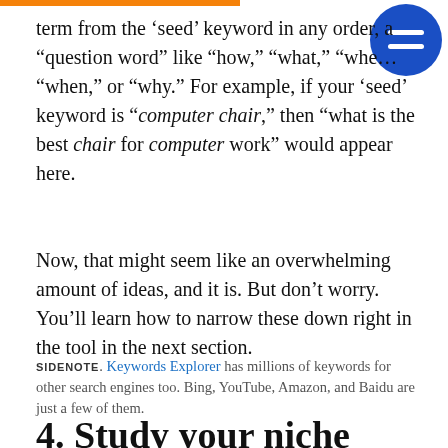term from the ‘seed’ keyword in any order, a “question word” like “how,” “what,” “where,” “when,” or “why.” For example, if your ‘seed’ keyword is “computer chair,” then “what is the best chair for computer work” would appear here.
Now, that might seem like an overwhelming amount of ideas, and it is. But don’t worry. You’ll learn how to narrow these down right in the tool in the next section.
SIDENOTE. Keywords Explorer has millions of keywords for other search engines too. Bing, YouTube, Amazon, and Baidu are just a few of them.
4. Study your niche